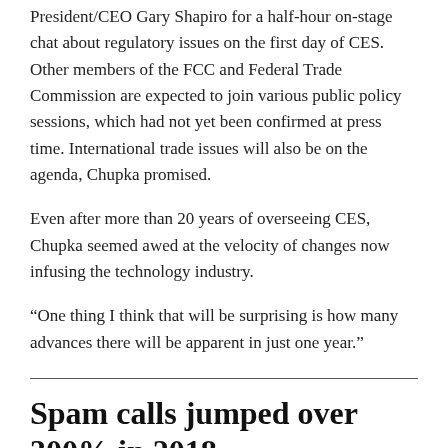President/CEO Gary Shapiro for a half-hour on-stage chat about regulatory issues on the first day of CES. Other members of the FCC and Federal Trade Commission are expected to join various public policy sessions, which had not yet been confirmed at press time. International trade issues will also be on the agenda, Chupka promised.
Even after more than 20 years of overseeing CES, Chupka seemed awed at the velocity of changes now infusing the technology industry.
“One thing I think that will be surprising is how many advances there will be apparent in just one year.”
Spam calls jumped over 300% in 2018